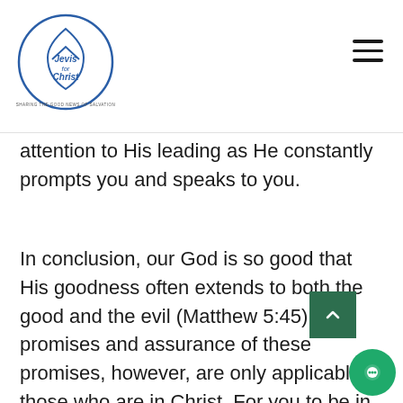Jesus for Christ – navigation header with logo and hamburger menu
attention to His leading as He constantly prompts you and speaks to you.
In conclusion, our God is so good that His goodness often extends to both the good and the evil (Matthew 5:45). His promises and assurance of these promises, however, are only applicable to those who are in Christ. For you to be in Christ you need to accept Him as your Lord and personal Saviour. "For God so loved the world that He gave His one and